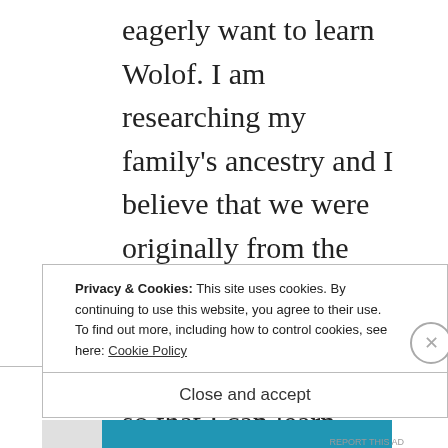eagerly want to learn Wolof. I am researching my family's ancestry and I believe that we were originally from the Senegal region. If anyone can help me with some information so that I can learn Wolof I would greatly appreciate it. Asante!
★ Like
Log in to Reply
Privacy & Cookies: This site uses cookies. By continuing to use this website, you agree to their use.
To find out more, including how to control cookies, see here: Cookie Policy
Close and accept